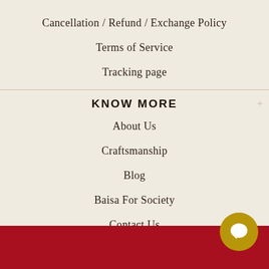Cancellation / Refund / Exchange Policy
Terms of Service
Tracking page
KNOW MORE
About Us
Craftsmanship
Blog
Baisa For Society
Contact Us
Gift Card